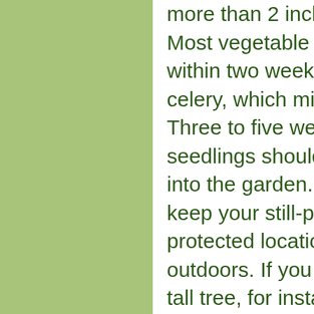more than 2 inches tall. Most vegetable seeds should germinate within two weeks, except for parsley and celery, which might take three. Three to five weeks after germination, seedlings should be ready for transplanting into the garden. You may actually want to keep your still-potted seedlings in a protected location when you first take them outdoors. If you put them in the shade of a tall tree, for instance, they will not be exposed to direct sun, which could burn them after growing up indoors. This acclimation or hardening-off process should not take more than a week. If a cold night is forecast, put inverted flower pots over your seedlings just before dark. The variety of vegetable seeds available